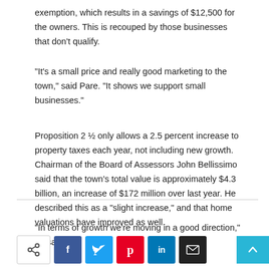exemption, which results in a savings of $12,500 for the owners. This is recouped by those businesses that don't qualify.
“It’s a small price and really good marketing to the town,” said Pare. “It shows we support small businesses.”
Proposition 2 ½ only allows a 2.5 percent increase to property taxes each year, not including new growth. Chairman of the Board of Assessors John Bellissimo said that the town’s total value is approximately $4.3 billion, an increase of $172 million over last year. He described this as a “slight increase,” and that home valuations have improved as well.
“In terms of growth we’re moving in a good direction,” he said.
[Figure (other): Social sharing buttons row: share icon, Facebook, Twitter, Pinterest, LinkedIn, Email, and scroll-to-top arrow button]